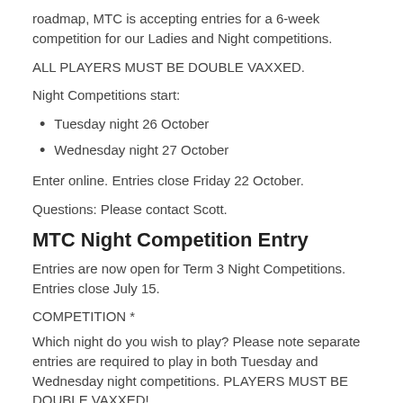roadmap, MTC is accepting entries for a 6-week competition for our Ladies and Night competitions.
ALL PLAYERS MUST BE DOUBLE VAXXED.
Night Competitions start:
Tuesday night 26 October
Wednesday night 27 October
Enter online. Entries close Friday 22 October.
Questions: Please contact Scott.
MTC Night Competition Entry
Entries are now open for Term 3 Night Competitions. Entries close July 15.
COMPETITION *
Which night do you wish to play? Please note separate entries are required to play in both Tuesday and Wednesday night competitions. PLAYERS MUST BE DOUBLE VAXXED!